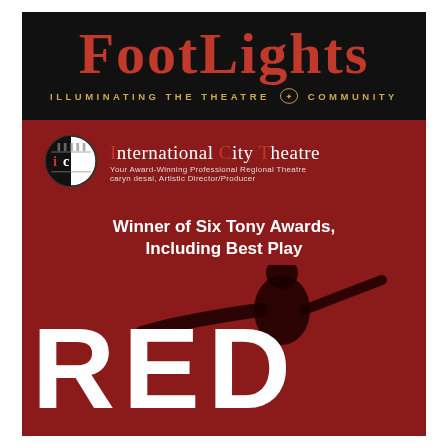FootLights
ILLUMINATING THE THEATRE COMMUNITY
[Figure (logo): International City Theatre logo - circular black and white ICT emblem]
International City Theatre
Your Award-Winning Professional Regional Theatre
caryn desai, Artistic Director/Producer
Winner of Six Tony Awards, Including Best Play
[Figure (illustration): Dark red background with a dark silhouette of a person holding a paintbrush or tool, arms extended]
RED